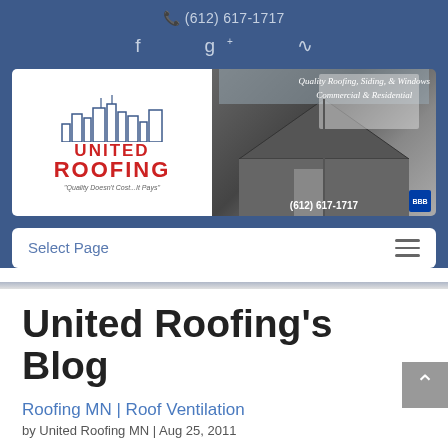(612) 617-1717
[Figure (logo): United Roofing logo banner with skyline graphic and roofing photo. Text: Quality Roofing, Siding, & Windows, Commercial & Residential, (612) 617-1717]
Select Page
United Roofing's Blog
Roofing MN | Roof Ventilation
by United Roofing MN | Aug 25, 2011
Your Roof's Ventilation System Could Be Costing You Money One of the most important aspects of the way your roof is